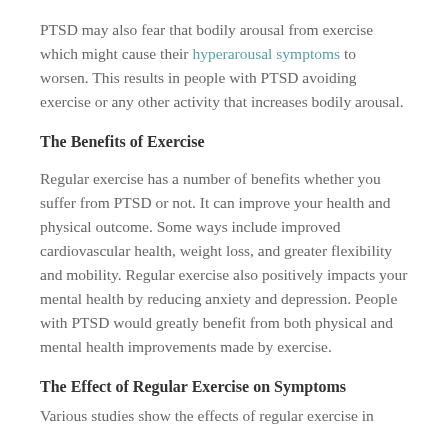PTSD may also fear that bodily arousal from exercise which might cause their hyperarousal symptoms to worsen. This results in people with PTSD avoiding exercise or any other activity that increases bodily arousal.
The Benefits of Exercise
Regular exercise has a number of benefits whether you suffer from PTSD or not. It can improve your health and physical outcome. Some ways include improved cardiovascular health, weight loss, and greater flexibility and mobility. Regular exercise also positively impacts your mental health by reducing anxiety and depression. People with PTSD would greatly benefit from both physical and mental health improvements made by exercise.
The Effect of Regular Exercise on Symptoms
Various studies show the effects of regular exercise in...